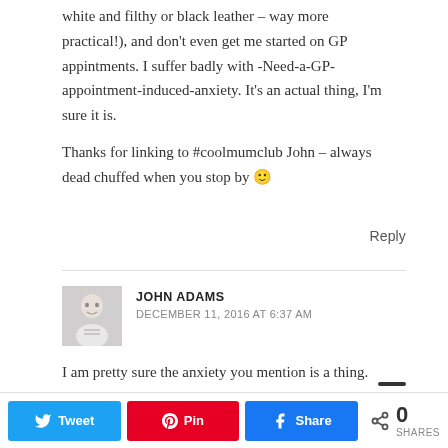white and filthy or black leather – way more practical!), and don't even get me started on GP appintments. I suffer badly with -Need-a-GP-appointment-induced-anxiety. It's an actual thing, I'm sure it is.
Thanks for linking to #coolmumclub John – always dead chuffed when you stop by 🙂
Reply
JOHN ADAMS
DECEMBER 11, 2016 AT 6:37 AM
I am pretty sure the anxiety you mention is a thing. Maybe you should go and see your doctor about it. Oh, hold on...
[Figure (other): Share bar with Twitter, Pinterest, Facebook buttons and a share count showing 0 SHARES]